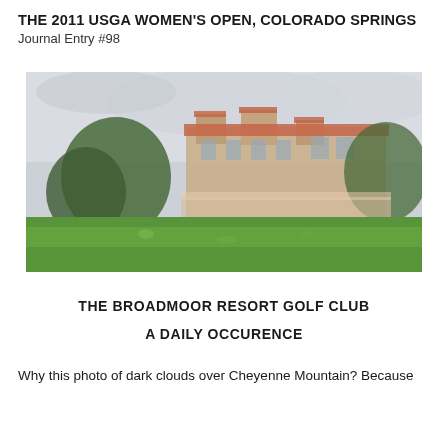THE 2011 USGA WOMEN'S OPEN, COLORADO SPRINGS
Journal Entry #98
[Figure (photo): Blurred photograph of the Broadmoor Resort Golf Club building with red-tiled roof, surrounded by green lawn and trees, with an overcast sky suggesting dark clouds.]
THE BROADMOOR RESORT GOLF CLUB
A DAILY OCCURENCE
Why this photo of dark clouds over Cheyenne Mountain? Because